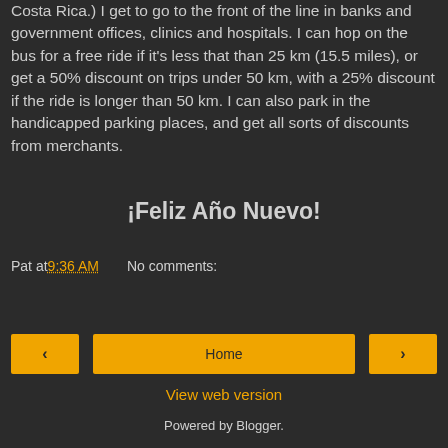Costa Rica.) I get to go to the front of the line in banks and government offices, clinics and hospitals. I can hop on the bus for a free ride if it's less that than 25 km (15.5 miles), or get a 50% discount on trips under 50 km, with a 25% discount if the ride is longer than 50 km. I can also park in the handicapped parking places, and get all sorts of discounts from merchants.
¡Feliz Año Nuevo!
Pat at 9:36 AM    No comments:
Share
‹   Home   ›
View web version
Powered by Blogger.